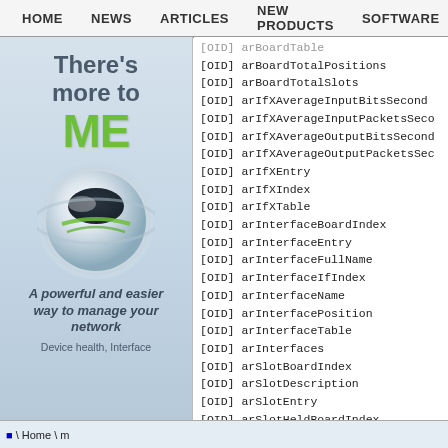HOME  NEWS  ARTICLES  NEW PRODUCTS  SOFTWARE
[Figure (illustration): Advertisement banner with text 'There's more to ME' in gray/green bold font, a metallic globe/ball logo graphic, tagline 'A powerful and easier way to manage your network', subtitle 'Device health, Interface']
[OID] arBoardTable
[OID] arBoardTotalPositions
[OID] arBoardTotalSlots
[OID] arIfXAverageInputBitsSecond
[OID] arIfXAverageInputPacketsSecond
[OID] arIfXAverageOutputBitsSecond
[OID] arIfXAverageOutputPacketsSecond
[OID] arIfXEntry
[OID] arIfXIndex
[OID] arIfXTable
[OID] arInterfaceBoardIndex
[OID] arInterfaceEntry
[OID] arInterfaceFullName
[OID] arInterfaceIfIndex
[OID] arInterfaceName
[OID] arInterfacePosition
[OID] arInterfaceTable
[OID] arInterfaces
[OID] arSlotBoardIndex
[OID] arSlotDescription
[OID] arSlotEntry
[OID] arSlotHeldBoardIndex
[OID] arSlotSlotIndex
[OID] arSlotTable
[OID] at-8624XL-80
[OID] at-8724XL
Home \ m